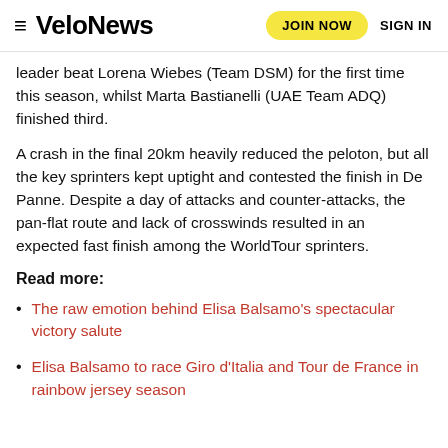VeloNews | JOIN NOW | SIGN IN
leader beat Lorena Wiebes (Team DSM) for the first time this season, whilst Marta Bastianelli (UAE Team ADQ) finished third.
A crash in the final 20km heavily reduced the peloton, but all the key sprinters kept uptight and contested the finish in De Panne. Despite a day of attacks and counter-attacks, the pan-flat route and lack of crosswinds resulted in an expected fast finish among the WorldTour sprinters.
Read more:
The raw emotion behind Elisa Balsamo's spectacular victory salute
Elisa Balsamo to race Giro d'Italia and Tour de France in rainbow jersey season